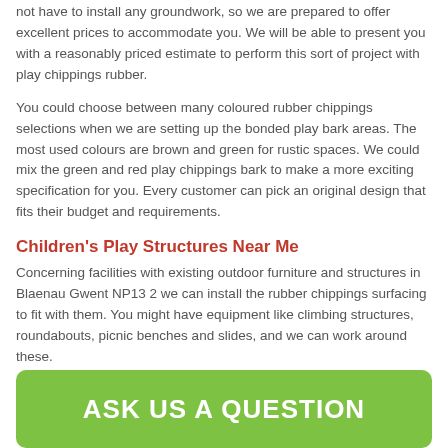not have to install any groundwork, so we are prepared to offer excellent prices to accommodate you. We will be able to present you with a reasonably priced estimate to perform this sort of project with play chippings rubber.
You could choose between many coloured rubber chippings selections when we are setting up the bonded play bark areas. The most used colours are brown and green for rustic spaces. We could mix the green and red play chippings bark to make a more exciting specification for you. Every customer can pick an original design that fits their budget and requirements.
Children's Play Structures Near Me
Concerning facilities with existing outdoor furniture and structures in Blaenau Gwent NP13 2 we can install the rubber chippings surfacing to fit with them. You might have equipment like climbing structures, roundabouts, picnic benches and slides, and we can work around these.
ASK US A QUESTION